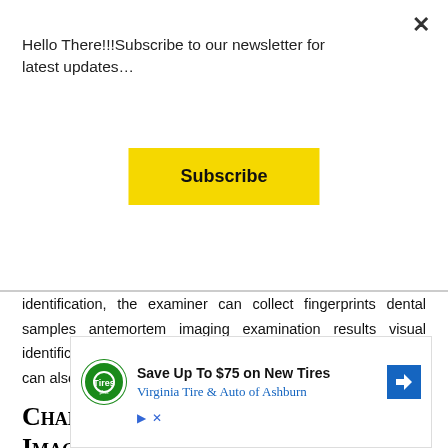Hello There!!!Subscribe to our newsletter for latest updates…
Subscribe
identification, the examiner can collect fingerprints dental samples antemortem imaging examination results visual identification is also part of identification in most cases. Teeth can also important part of identification.
Challenges in Forensic Imaging
[Figure (infographic): Advertisement for Virginia Tire & Auto of Ashburn, showing a Tires Plus logo, text 'Save Up To $75 on New Tires', 'Virginia Tire & Auto of Ashburn', a blue diamond navigation arrow icon, and ad controls (play and close buttons).]